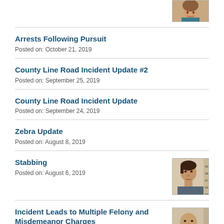[Figure (photo): Partial mugshot photo of a woman, cropped at top of page]
Arrests Following Pursuit
Posted on: October 21, 2019
County Line Road Incident Update #2
Posted on: September 25, 2019
County Line Road Incident Update
Posted on: September 24, 2019
Zebra Update
Posted on: August 8, 2019
Stabbing
Posted on: August 6, 2019
[Figure (photo): Mugshot photo of a young dark-haired male suspect against a height ruler background]
Incident Leads to Multiple Felony and Misdemeanor Charges
[Figure (photo): Partial mugshot photo of a bald male suspect with mustache against a height ruler background]